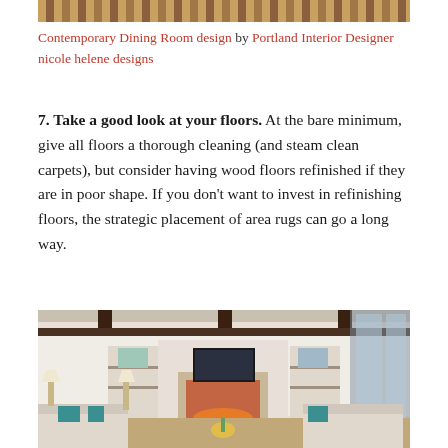[Figure (photo): Partial view of a rug or carpet with ornate pattern, cropped at top of page]
Contemporary Dining Room design by Portland Interior Designer nicole helene designs
7. Take a good look at your floors. At the bare minimum, give all floors a thorough cleaning (and steam clean carpets), but consider having wood floors refinished if they are in poor shape. If you don't want to invest in refinishing floors, the strategic placement of area rugs can go a long way.
[Figure (photo): Living room interior with dark wood beamed ceiling, fireplace, built-in shelving with TV, teal accent pillows on sofas, and large windows]